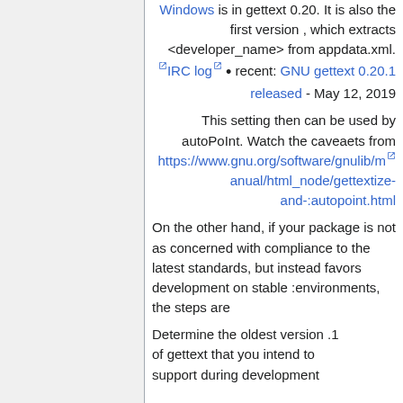Windows is in gettext 0.20. It is also the first version , which extracts <developer_name> from appdata.xml. IRC log • recent: GNU gettext 0.20.1 released - May 12, 2019
This setting then can be used by autoPoInt. Watch the caveaets from https://www.gnu.org/software/gnulib/manual/html_node/gettextize-and-:autopoint.html
On the other hand, if your package is not as concerned with compliance to the latest standards, but instead favors development on stable :environments, the steps are
1. Determine the oldest version of gettext that you intend to support during development